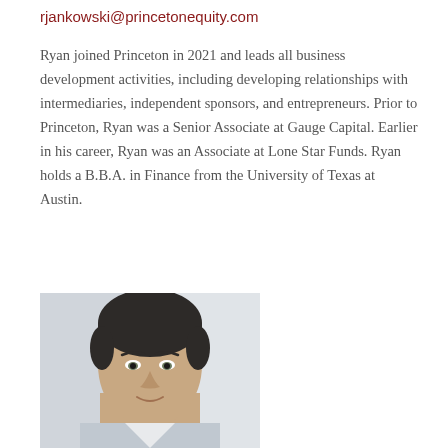rjankowski@princetonequity.com
Ryan joined Princeton in 2021 and leads all business development activities, including developing relationships with intermediaries, independent sponsors, and entrepreneurs. Prior to Princeton, Ryan was a Senior Associate at Gauge Capital. Earlier in his career, Ryan was an Associate at Lone Star Funds. Ryan holds a B.B.A. in Finance from the University of Texas at Austin.
[Figure (photo): Headshot photo of a man with short dark hair, facing the camera, light background]